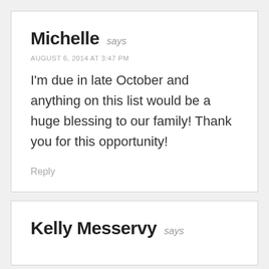Michelle says
AUGUST 6, 2014 AT 3:47 PM
I'm due in late October and anything on this list would be a huge blessing to our family! Thank you for this opportunity!
Reply
Kelly Messervy says